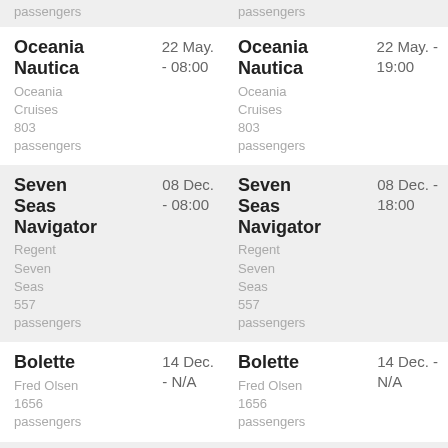passengers (top-left truncated)
passengers (top-right truncated)
Oceania Nautica
Oceania Cruises
803 passengers
22 May. - 08:00
Oceania Nautica
Oceania Cruises
803 passengers
22 May. - 19:00
Seven Seas Navigator
Regent Seven Seas
557 passengers
08 Dec. - 08:00
Seven Seas Navigator
Regent Seven Seas
557 passengers
08 Dec. - 18:00
Bolette
Fred Olsen
1656 passengers
14 Dec. - N/A
Bolette
Fred Olsen
1656 passengers
14 Dec. - N/A
Oceania (partial bottom-left)
Oceania (partial bottom-right)